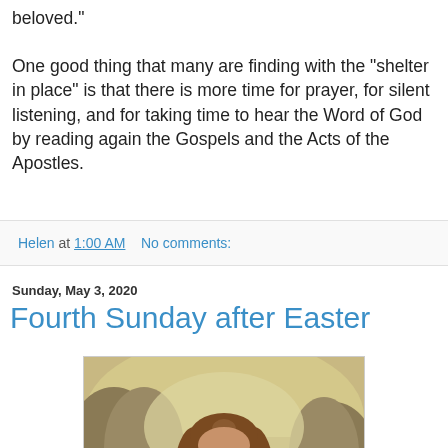beloved."
One good thing that many are finding with the "shelter in place" is that there is more time for prayer, for silent listening, and for taking time to hear the Word of God by reading again the Gospels and the Acts of the Apostles.
Helen at 1:00 AM    No comments:
Sunday, May 3, 2020
Fourth Sunday after Easter
[Figure (photo): Painting of Jesus with long brown hair and beard, eyes cast downward, wearing white robe, with rocky landscape background]